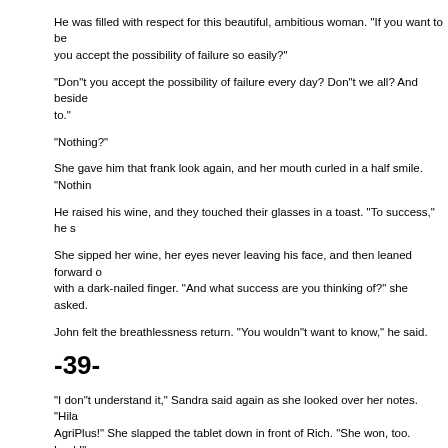should. You should.
He was filled with respect for this beautiful, ambitious woman. "If you want to be... you accept the possibility of failure so easily?"
"Don"t you accept the possibility of failure every day? Don"t we all? And beside... to."
"Nothing?"
She gave him that frank look again, and her mouth curled in a half smile. "Nothin...
He raised his wine, and they touched their glasses in a toast. "To success," he s...
She sipped her wine, her eyes never leaving his face, and then leaned forward ... with a dark-nailed finger. "And what success are you thinking of?" she asked.
John felt the breathlessness return. "You wouldn"t want to know," he said.
-39-
"I don"t understand it," Sandra said again as she looked over her notes. "Hila... AgriPlus!" She slapped the tablet down in front of Rich. "She won, too. Look!"
"I see, honey." He looked it over carefully. "At least she"s a good lawyer."
"Don"t make a joke of this, Richie."
"I"m not trying to, Sandy, but maybe there"s more here then we realize." He ga... she call you back yet?"
"No." Sandy began pacing the kitchen. "I left a message with Phyllis. They were...